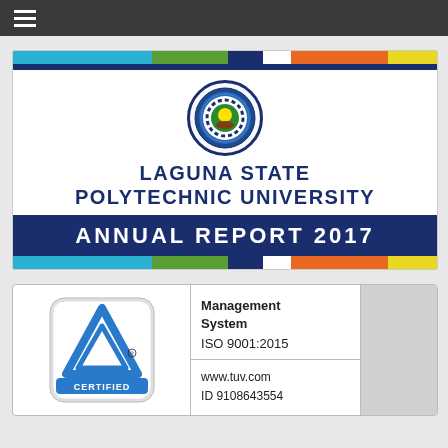≡ (navigation menu)
[Figure (logo): Laguna State Polytechnic University Annual Report 2017 cover card with university seal, colored top bar (cyan, green, dark blue, white, orange, yellow), navy divider line, university name in dark blue bold uppercase, and ANNUAL REPORT 2017 in white on dark blue banner, with matching colored bottom bar]
[Figure (logo): TÜVRheinland CERTIFIED badge with blue triangle logo on left, 'Management System ISO 9001:2015' text in center, 'www.tuv.com ID 9108643554' at bottom center, and gray panel on right]